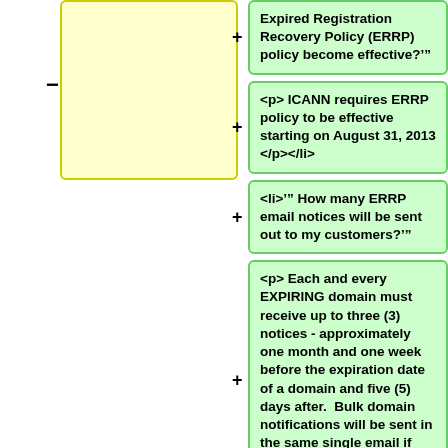[Figure (other): Yellow rounded rectangle box on left side of page with a minus symbol to its left]
Expired Registration Recovery Policy (ERRP) policy become effective?"'
<p> ICANN requires ERRP policy to be effective starting on August 31, 2013 </p></li>
<li>'" How many ERRP email notices will be sent out to my customers?"'
<p> Each and every EXPIRING domain must receive up to three (3) notices - approximately one month and one week before the expiration date of a domain and five (5) days after.  Bulk domain notifications will be sent in the same single email if domains are expiring at approximately the same